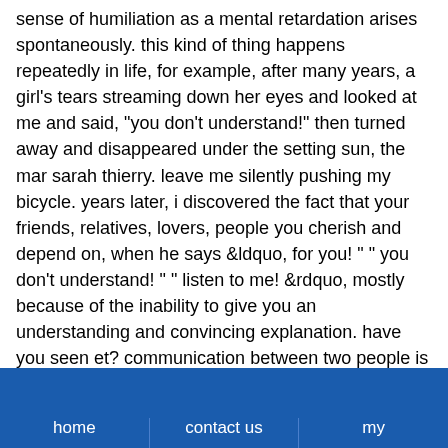sense of humiliation as a mental retardation arises spontaneously. this kind of thing happens repeatedly in life, for example, after many years, a girl's tears streaming down her eyes and looked at me and said, "you don't understand!" then turned away and disappeared under the setting sun, the mar sarah thierry. leave me silently pushing my bicycle. years later, i discovered the fact that your friends, relatives, lovers, people you cherish and depend on, when he says &ldquo, for you! " " you don't understand! " " listen to me! &rdquo, mostly because of the inability to give you an understanding and convincing explanation. have you seen et? communication between two people is
home | contact us | my